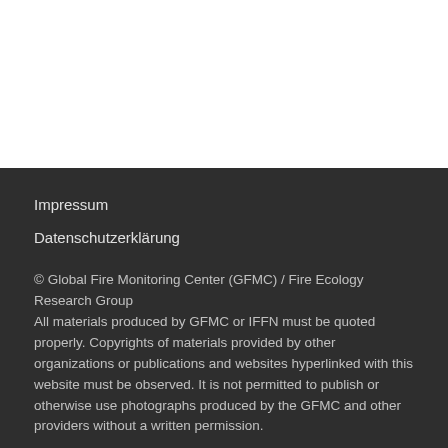Impressum
Datenschutzerklärung
© Global Fire Monitoring Center (GFMC) / Fire Ecology Research Group
All materials produced by GFMC or IFFN must be quoted properly. Copyrights of materials provided by other organizations or publications and websites hyperlinked with this website must be observed. It is not permitted to publish or otherwise use photographs produced by the GFMC and other providers without a written permission.